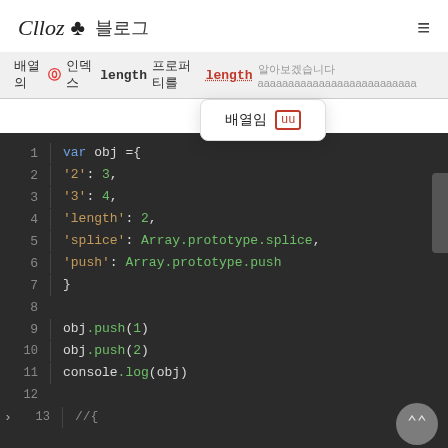Clloz ♣ 블로그
배열의 ⓪ 인덱스 length 프로퍼티를 length 알아보겠습니다aaaaaaaaaaaaaaaaaaaaaaaaaa
배열임 [uu]
[Figure (screenshot): Code editor showing JavaScript code: var obj with properties '2':3, '3':4, 'length':2, 'splice': Array.prototype.splice, 'push': Array.prototype.push. Then obj.push(1), obj.push(2), console.log(obj), and a comment //{ on line 13.]